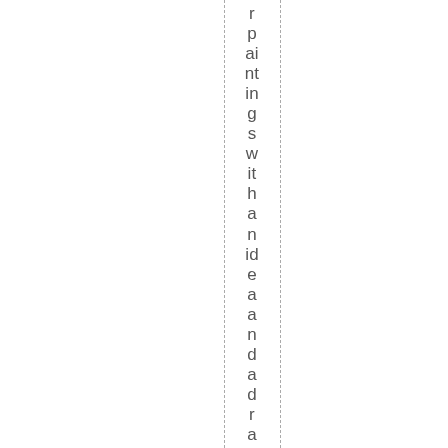r paintings with an idea and a drawing.